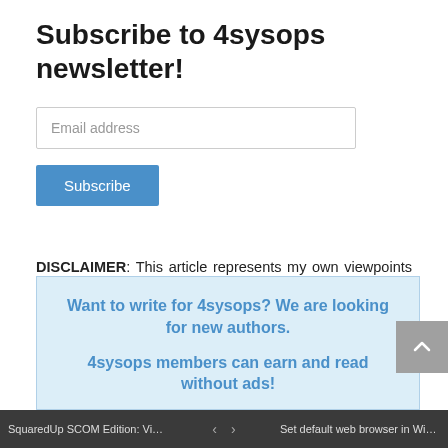Subscribe to 4sysops newsletter!
Email address
Subscribe
DISCLAIMER: This article represents my own viewpoints and not of my employer, Amazon Web Services.
Want to write for 4sysops? We are looking for new authors.

4sysops members can earn and read without ads!
SquaredUp SCOM Edition: Visualiz...    <  >    Set default web browser in Window...